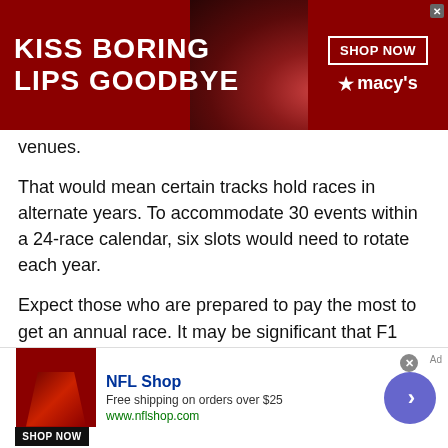[Figure (other): Macy's advertisement banner: 'KISS BORING LIPS GOODBYE' with a woman's face wearing red lipstick, SHOP NOW button and Macy's star logo on dark red background]
venues.
That would mean certain tracks hold races in alternate years. To accommodate 30 events within a 24-race calendar, six slots would need to rotate each year.
Expect those who are prepared to pay the most to get an annual race. It may be significant that F1 has announced long-term deals with some of its top-paying promoters recently. Qatar signed a 10-year deal last season, Abu Dhabi renewed until 2030, while Bahrain recently extended its contract to 2036.
Domenicali also indicated he wants to expand F1 into regions
[Figure (other): NFL Shop advertisement with jersey image, 'Free shipping on orders over $25', www.nflshop.com, SHOP NOW button, and a circular arrow button]